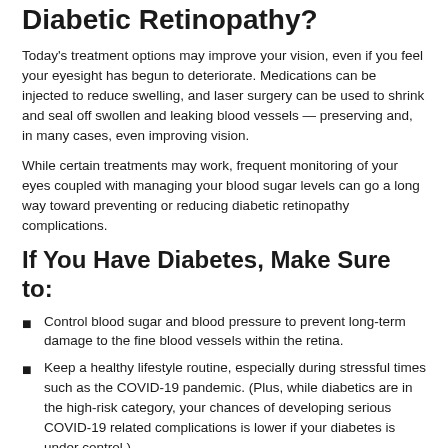Diabetic Retinopathy?
Today's treatment options may improve your vision, even if you feel your eyesight has begun to deteriorate. Medications can be injected to reduce swelling, and laser surgery can be used to shrink and seal off swollen and leaking blood vessels — preserving and, in many cases, even improving vision.
While certain treatments may work, frequent monitoring of your eyes coupled with managing your blood sugar levels can go a long way toward preventing or reducing diabetic retinopathy complications.
If You Have Diabetes, Make Sure to:
Control blood sugar and blood pressure to prevent long-term damage to the fine blood vessels within the retina.
Keep a healthy lifestyle routine, especially during stressful times such as the COVID-19 pandemic. (Plus, while diabetics are in the high-risk category, your chances of developing serious COVID-19 related complications is lower if your diabetes is under control.)